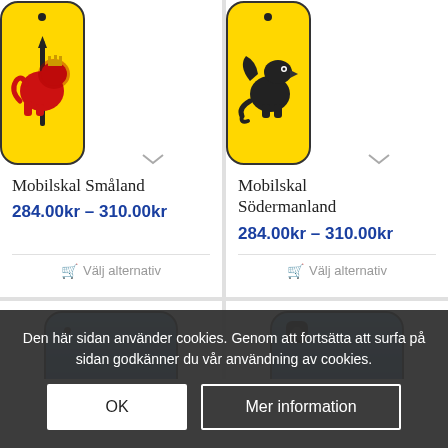[Figure (photo): Phone case product image - Mobilskal Småland, yellow case with red lion crest]
Mobilskal Småland
284.00kr – 310.00kr
Välj alternativ
[Figure (photo): Phone case product image - Mobilskal Södermanland, yellow case with black griffin crest]
Mobilskal Södermanland
284.00kr – 310.00kr
Välj alternativ
[Figure (photo): Phone case with blue sky/water background - partially visible]
[Figure (photo): Phone case with blue sky/water background - partially visible]
Den här sidan använder cookies. Genom att fortsätta att surfa på sidan godkänner du vår användning av cookies.
OK
Mer information